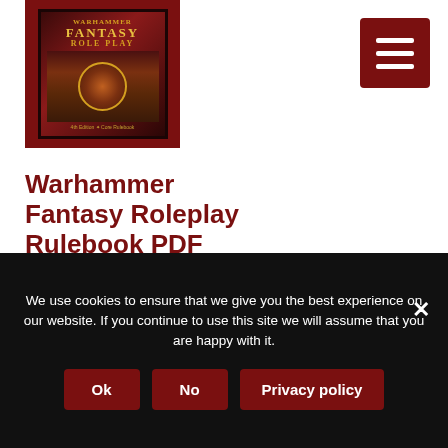[Figure (illustration): Warhammer Fantasy Roleplay Rulebook cover art displayed on a tablet device with dark red background showing fantasy characters]
[Figure (other): Dark red hamburger menu button with three white horizontal lines in top right corner]
Warhammer Fantasy Roleplay Rulebook PDF
This is a PDF only product
We use cookies to ensure that we give you the best experience on our website. If you continue to use this site we will assume that you are happy with it.
Ok
No
Privacy policy